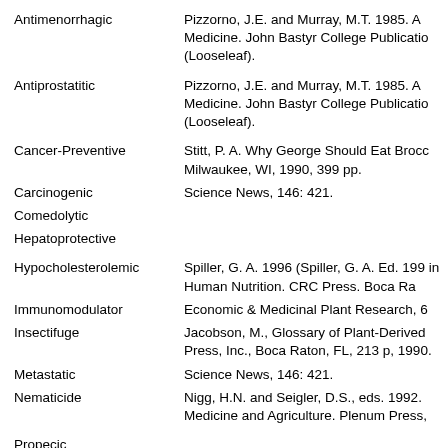Antimenorrhagic | Pizzorno, J.E. and Murray, M.T. 1985. A Medicine. John Bastyr College Publication (Looseleaf).
Antiprostatitic | Pizzorno, J.E. and Murray, M.T. 1985. A Medicine. John Bastyr College Publication (Looseleaf).
Cancer-Preventive | Stitt, P. A. Why George Should Eat Brocc Milwaukee, WI, 1990, 399 pp.
Carcinogenic | Science News, 146: 421.
Comedolytic
Hepatoprotective
Hypocholesterolemic | Spiller, G. A. 1996 (Spiller, G. A. Ed. 199 in Human Nutrition. CRC Press. Boca Ra
Immunomodulator | Economic & Medicinal Plant Research, 6
Insectifuge | Jacobson, M., Glossary of Plant-Derived Press, Inc., Boca Raton, FL, 213 p, 1990.
Metastatic | Science News, 146: 421.
Nematicide | Nigg, H.N. and Seigler, D.S., eds. 1992. Medicine and Agriculture. Plenum Press,
Propecic